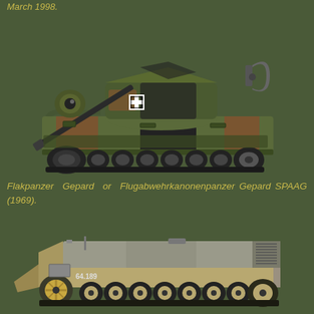March 1998.
[Figure (illustration): Side-view illustration of the Flakpanzer Gepard (Flugabwehrkanonenpanzer Gepard) SPAAG tank in camouflage pattern (green, black, brown), featuring twin anti-aircraft guns and radar, with German Iron Cross marking, dated 1969.]
Flakpanzer Gepard or Flugabwehrkanonenpanzer Gepard SPAAG (1969).
[Figure (illustration): Side-view illustration of a WWII-era German tank destroyer or armored vehicle in desert/sand camouflage with number 64.189 marked on the hull, showing large road wheels and track system.]